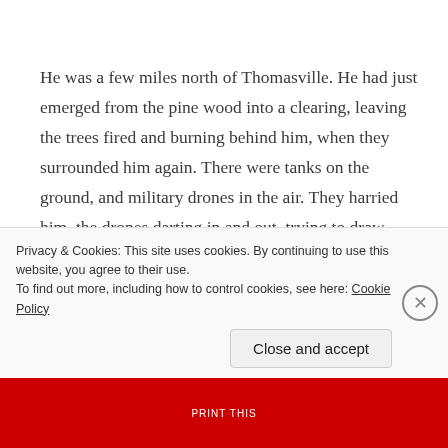He was a few miles north of Thomasville.  He had just emerged from the pine wood into a clearing, leaving the trees fired and burning behind him, when they surrounded him again.  There were tanks on the ground, and military drones in the air.  They harried him, the drones darting in and out, trying to draw breath from him, the tanks pounding away at his legs and flanks.  His reacting to one set of attackers prompted a redoubled
Privacy & Cookies: This site uses cookies. By continuing to use this website, you agree to their use.
To find out more, including how to control cookies, see here: Cookie Policy
Close and accept